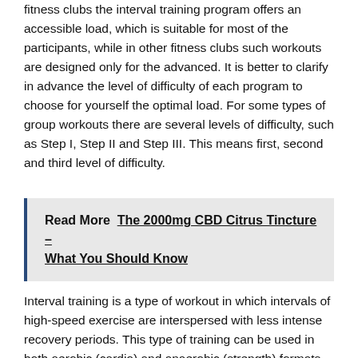fitness clubs the interval training program offers an accessible load, which is suitable for most of the participants, while in other fitness clubs such workouts are designed only for the advanced. It is better to clarify in advance the level of difficulty of each program to choose for yourself the optimal load. For some types of group workouts there are several levels of difficulty, such as Step I, Step II and Step III. This means first, second and third level of difficulty.
Read More  The 2000mg CBD Citrus Tincture – What You Should Know
Interval training is a type of workout in which intervals of high-speed exercise are interspersed with less intense recovery periods. This type of training can be used in both aerobic (cardio) and anaerobic (strength) formats. Typically,